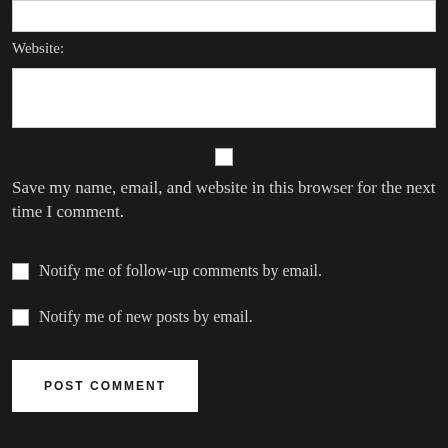Website:
Save my name, email, and website in this browser for the next time I comment.
Notify me of follow-up comments by email.
Notify me of new posts by email.
POST COMMENT